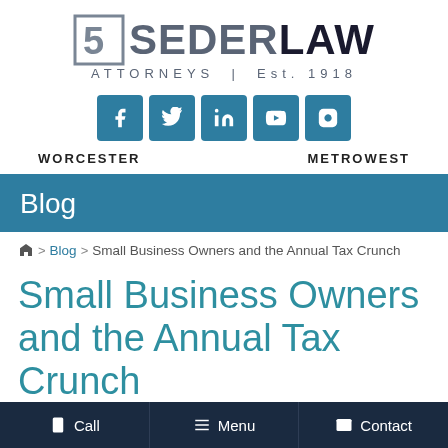[Figure (logo): Seder Law logo with square icon, text SEDERLAW, and tagline ATTORNEYS | Est. 1918]
[Figure (infographic): Row of 5 social media icon buttons (Facebook, Twitter, LinkedIn, YouTube, Instagram) in teal square tiles]
WORCESTER    METROWEST
Blog
🏠 > Blog > Small Business Owners and the Annual Tax Crunch
Small Business Owners and the Annual Tax Crunch
Call   Menu   Contact